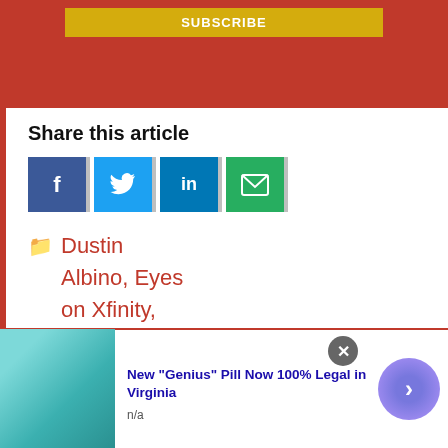[Figure (other): Red subscription banner with yellow SUBSCRIBE button]
Share this article
[Figure (other): Social share buttons: Facebook, Twitter, LinkedIn, Email]
Dustin Albino, Eyes on Xfinity, Featured Content
[Figure (other): Advertisement: New 'Genius' Pill Now 100% Legal in Virginia, n/a]